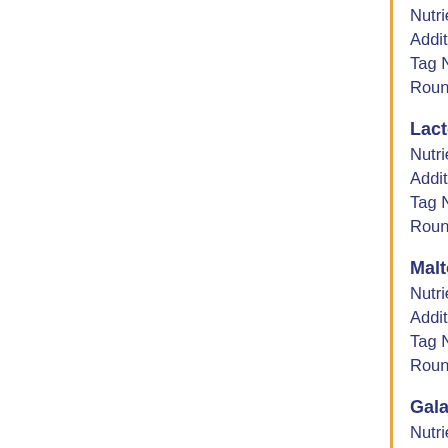Nutrient Val: 4 g
Additional Fortification:
Tag Name: FRUS
Rounded to dec points: 2
Lactose
Nutrient Val: 0 g
Additional Fortification:
Tag Name: LACS
Rounded to dec points: 2
Maltose
Nutrient Val: 0 g
Additional Fortification:
Tag Name: MALS
Rounded to dec points: 2
Galactose
Nutrient Val: 0 g
Additional Fortification:
Tag Name: GALS
Rounded to dec points: 2
Starch
Nutrient Val: 0 g